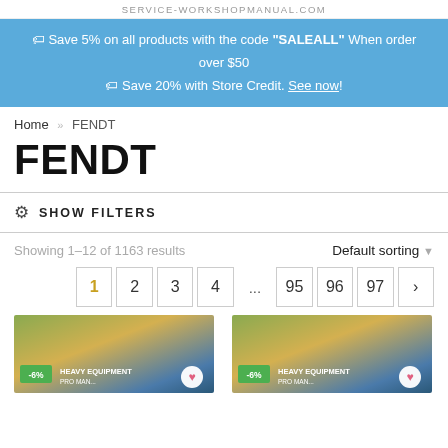SERVICE-WORKSHOPMANUAL.COM
🏷 Save 5% on all products with the code "SALEALL" When order over $50
🏷 Save 20% with Store Credit. See now!
Home » FENDT
FENDT
SHOW FILTERS
Showing 1–12 of 1163 results
Default sorting
1  2  3  4  ...  95  96  97  >
[Figure (photo): Two product card thumbnails with heavy equipment imagery, green -6% badges, 'HEAVY EQUIPMENT' labels, and heart wishlist buttons]